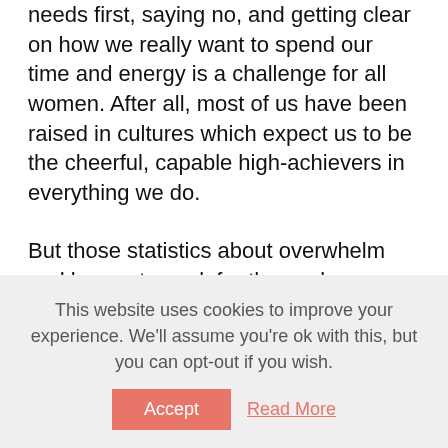needs first, saying no, and getting clear on how we really want to spend our time and energy is a challenge for all women. After all, most of us have been raised in cultures which expect us to be the cheerful, capable high-achievers in everything we do.
But those statistics about overwhelm and burnout speak for themselves. "Superwoman" is a role that comes at the expense of our health, our wellbeing and ultimately our impact on the world.
Don't let her take over your life.
This website uses cookies to improve your experience. We'll assume you're ok with this, but you can opt-out if you wish.